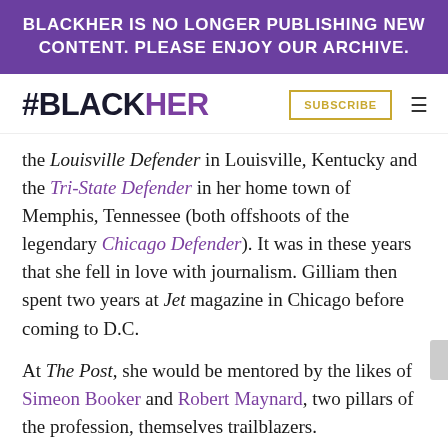BLACKHER IS NO LONGER PUBLISHING NEW CONTENT. PLEASE ENJOY OUR ARCHIVE.
#BLACKHER
the Louisville Defender in Louisville, Kentucky and the Tri-State Defender in her home town of Memphis, Tennessee (both offshoots of the legendary Chicago Defender). It was in these years that she fell in love with journalism. Gilliam then spent two years at Jet magazine in Chicago before coming to D.C.
At The Post, she would be mentored by the likes of Simeon Booker and Robert Maynard, two pillars of the profession, themselves trailblazers.